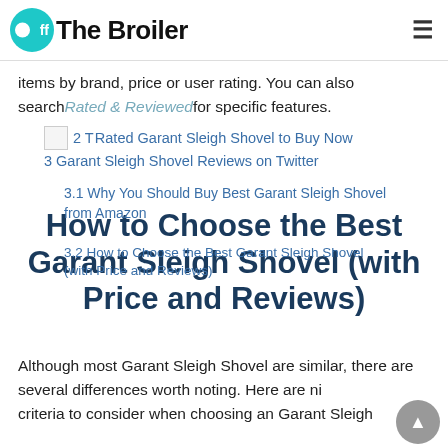Off The Broiler
items by brand, price or user rating. You can also search for specific features.
2 Top Rated Garant Sleigh Shovel to Buy Now
3 Garant Sleigh Shovel Reviews on Twitter
3.1 Why You Should Buy Best Garant Sleigh Shovel from Amazon
How to Choose the Best Garant Sleigh Shovel (with Price and Reviews)
3.2 How to Choose the Best Garant Sleigh Shovel (with Price and Reviews)
Although most Garant Sleigh Shovel are similar, there are several differences worth noting. Here are nine criteria to consider when choosing an Garant Sleigh